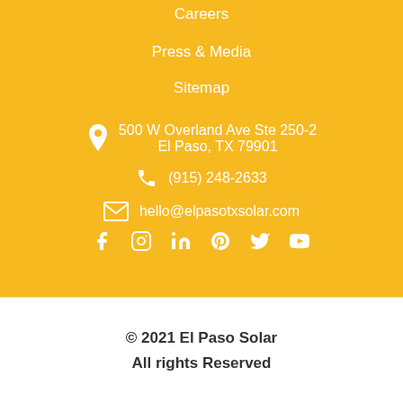Careers
Press & Media
Sitemap
500 W Overland Ave Ste 250-2
El Paso, TX 79901
(915) 248-2633
hello@elpasotxsolar.com
[Figure (infographic): Social media icons: Facebook, Instagram, LinkedIn, Pinterest, Twitter, YouTube]
© 2021 El Paso Solar
All rights Reserved